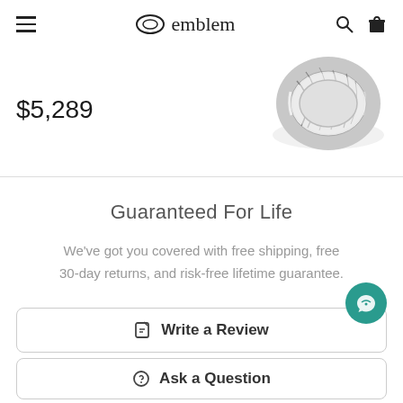emblem
$5,289
[Figure (photo): A metallic Damascus steel wedding band ring with striped pattern on silver domed band]
Guaranteed For Life
We've got you covered with free shipping, free 30-day returns, and risk-free lifetime guarantee.
Write a Review
Ask a Question